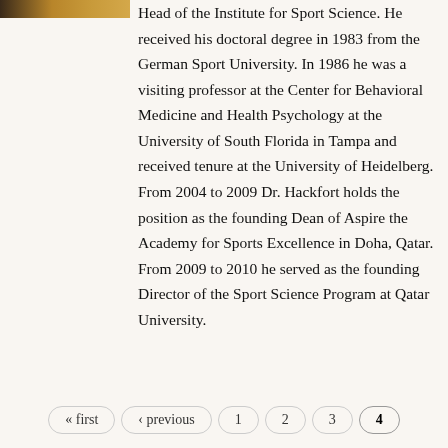[Figure (photo): Partial photo strip at top left corner of the page, showing a cropped image with warm brown and gold tones.]
Head of the Institute for Sport Science. He received his doctoral degree in 1983 from the German Sport University. In 1986 he was a visiting professor at the Center for Behavioral Medicine and Health Psychology at the University of South Florida in Tampa and received tenure at the University of Heidelberg. From 2004 to 2009 Dr. Hackfort holds the position as the founding Dean of Aspire the Academy for Sports Excellence in Doha, Qatar. From 2009 to 2010 he served as the founding Director of the Sport Science Program at Qatar University.
« first
‹ previous
1
2
3
4